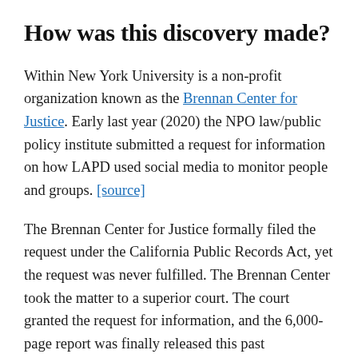How was this discovery made?
Within New York University is a non-profit organization known as the Brennan Center for Justice. Early last year (2020) the NPO law/public policy institute submitted a request for information on how LAPD used social media to monitor people and groups. [source]
The Brennan Center for Justice formally filed the request under the California Public Records Act, yet the request was never fulfilled. The Brennan Center took the matter to a superior court. The court granted the request for information, and the 6,000-page report was finally released this past Wednesday,